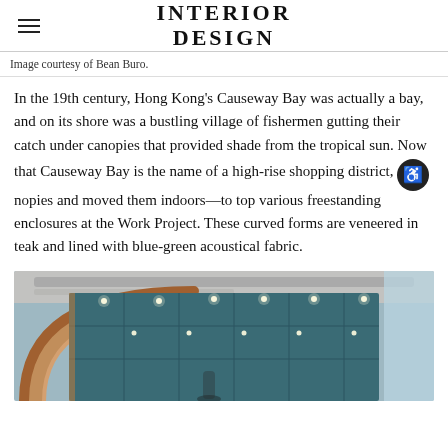INTERIOR DESIGN
Image courtesy of Bean Buro.
In the 19th century, Hong Kong's Causeway Bay was actually a bay, and on its shore was a bustling village of fishermen gutting their catch under canopies that provided shade from the tropical sun. Now that Causeway Bay is the name of a high-rise shopping district, Bean Buro has updated those canopies and moved them indoors—to top various freestanding enclosures at the Work Project. These curved forms are veneered in teak and lined with blue-green acoustical fabric.
[Figure (photo): Interior photo of a curved teak-veneered canopy structure with blue-green acoustical fabric at the Work Project in Causeway Bay, Hong Kong, designed by Bean Buro.]